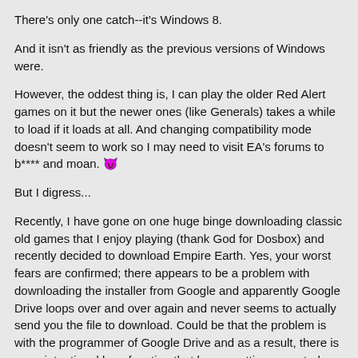There's only one catch--it's Windows 8.
And it isn't as friendly as the previous versions of Windows were.
However, the oddest thing is, I can play the older Red Alert games on it but the newer ones (like Generals) takes a while to load if it loads at all. And changing compatibility mode doesn't seem to work so I may need to visit EA's forums to b**** and moan. 😈
But I digress...
Recently, I have gone on one huge binge downloading classic old games that I enjoy playing (thank God for Dosbox) and recently decided to download Empire Earth. Yes, your worst fears are confirmed; there appears to be a problem with downloading the installer from Google and apparently Google Drive loops over and over again and never seems to actually send you the file to download. Could be that the problem is with the programmer of Google Drive and as a result, there is an unintentional loop function that keeps getting executed. But why is the looping happening? 🙂 ❓
Apparently, some of us can download the installer and others can't.
Which leads to theory 2 which is that the problem isn't with the Google Drive code. The problem could be with the computer trying to get the